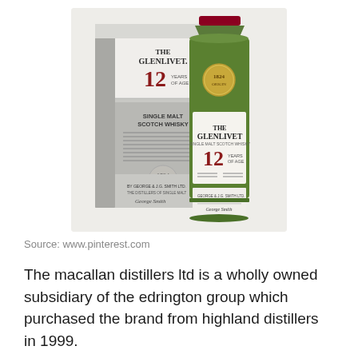[Figure (photo): Product photo of The Glenlivet 12 Years of Age Single Malt Scotch Whisky bottle alongside its grey/silver gift box packaging. The bottle is green with a red cap and white label showing 'THE GLENLIVET' and '12 YEARS OF AGE'. The box shows similar branding with '1824' medallion and 'George & J.G. Smith Ltd' text with signature.]
Source: www.pinterest.com
The macallan distillers ltd is a wholly owned subsidiary of the edrington group which purchased the brand from highland distillers in 1999.